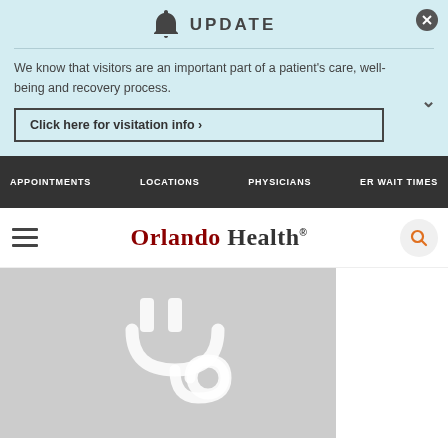UPDATE
We know that visitors are an important part of a patient's care, well-being and recovery process.
Click here for visitation info ›
APPOINTMENTS  LOCATIONS  PHYSICIANS  ER WAIT TIMES
[Figure (logo): Orlando Health logo with hamburger menu and search icon]
[Figure (illustration): Gray placeholder image with white stethoscope/medical plug icon]